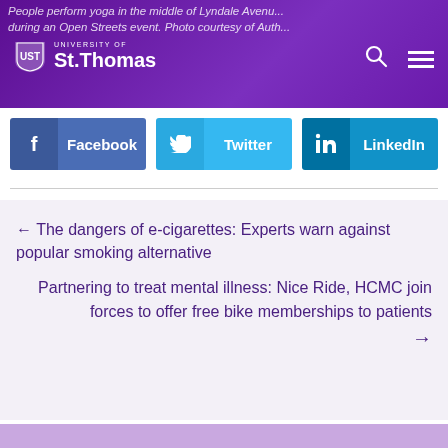People perform yoga in the middle of Lyndale Avenue during an Open Streets event. Photo courtesy of Autho...
[Figure (logo): University of St. Thomas logo — shield emblem with text 'UNIVERSITY OF St.Thomas' in white on purple header bar, with search and hamburger menu icons]
Facebook
Twitter
LinkedIn
← The dangers of e-cigarettes: Experts warn against popular smoking alternative
Partnering to treat mental illness: Nice Ride, HCMC join forces to offer free bike memberships to patients →